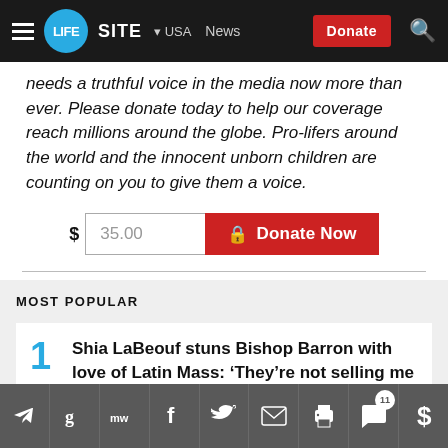LIFESITE | USA | News | Donate
needs a truthful voice in the media now more than ever. Please donate today to help our coverage reach millions around the globe. Pro-lifers around the world and the innocent unborn children are counting on you to give them a voice.
$ 35.00  Donate Now
MOST POPULAR
1. Shia LaBeouf stuns Bishop Barron with love of Latin Mass: ‘They’re not selling me a car’
Social share icons: Telegram, Gettr, MeWe, Facebook, Twitter, Email, Print, Comments (11), Donate